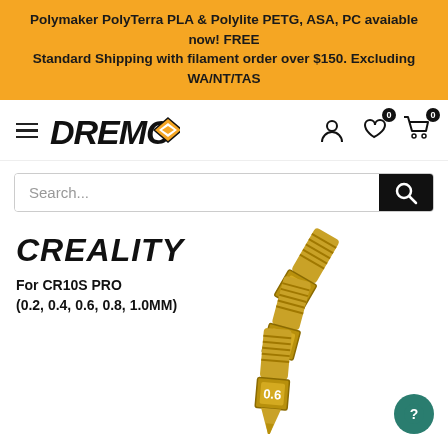Polymaker PolyTerra PLA & Polylite PETG, ASA, PC avaiable now! FREE Standard Shipping with filament order over $150. Excluding WA/NT/TAS
[Figure (logo): DREMC logo with diamond shape icon and hamburger menu icon]
[Figure (screenshot): Search bar with black search button]
CREALITY
For CR10S PRO
(0.2, 0.4, 0.6, 0.8, 1.0MM)
[Figure (photo): Three brass 3D printer nozzles labeled 0.6, 0.8, and 1.0mm arranged diagonally]